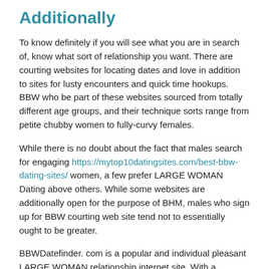Additionally
To know definitely if you will see what you are in search of, know what sort of relationship you want. There are courting websites for locating dates and love in addition to sites for lusty encounters and quick time hookups. BBW who be part of these websites sourced from totally different age groups, and their technique sorts range from petite chubby women to fully-curvy females.
While there is no doubt about the fact that males search for engaging https://mytop10datingsites.com/best-bbw-dating-sites/ women, a few prefer LARGE WOMAN Dating above others. While some websites are additionally open for the purpose of BHM, males who sign up for BBW courting web site tend not to essentially ought to be greater.
BBWDatefinder. com is a popular and individual pleasant LARGE WOMAN relationship internet site. With a spending simplistic check, its fill you with a method of confidence in the sites professionalism and reliability from the start.